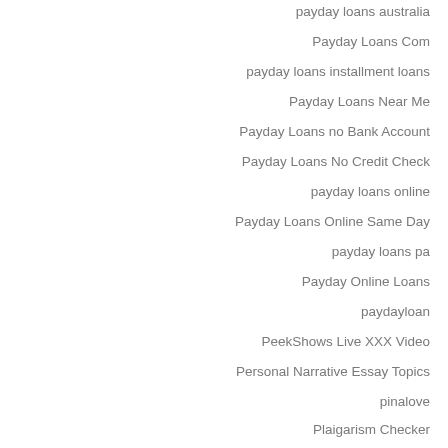payday loans australia
Payday Loans Com
payday loans installment loans
Payday Loans Near Me
Payday Loans no Bank Account
Payday Loans No Credit Check
payday loans online
Payday Loans Online Same Day
payday loans pa
Payday Online Loans
paydayloan
PeekShows Live XXX Video
Personal Narrative Essay Topics
pinalove
Plaigarism Checker